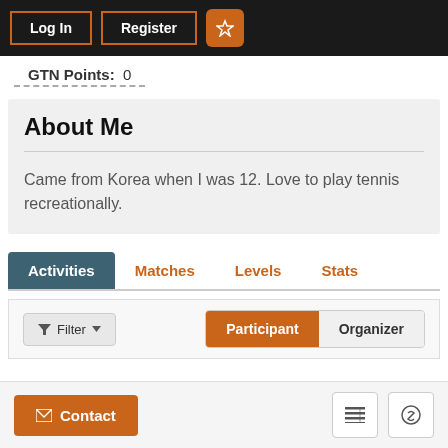Log In | Register | ☆
GTN Points: 0
About Me
Came from Korea when I was 12. Love to play tennis recreationally.
Activities | Matches | Levels | Stats
Filter ▼ | Participant | Organizer
Contact